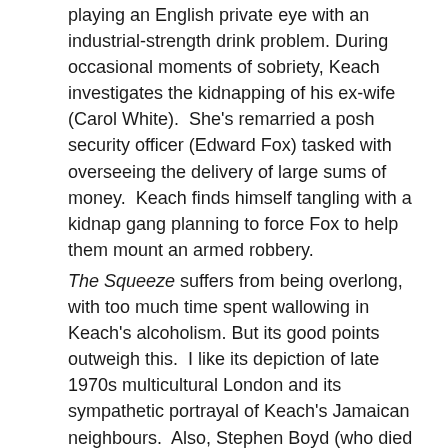playing an English private eye with an industrial-strength drink problem. During occasional moments of sobriety, Keach investigates the kidnapping of his ex-wife (Carol White).  She's remarried a posh security officer (Edward Fox) tasked with overseeing the delivery of large sums of money.  Keach finds himself tangling with a kidnap gang planning to force Fox to help them mount an armed robbery.
The Squeeze suffers from being overlong, with too much time spent wallowing in Keach's alcoholism. But its good points outweigh this.  I like its depiction of late 1970s multicultural London and its sympathetic portrayal of Keach's Jamaican neighbours.  Also, Stephen Boyd (who died soon after the film's completion, aged just 45) and David Hemmings give good turns as the villains.  Allowed